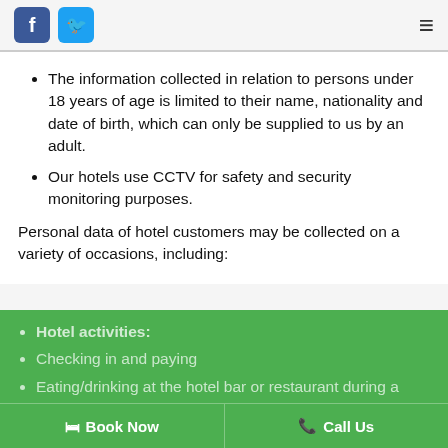Facebook icon, Twitter icon, hamburger menu
The information collected in relation to persons under 18 years of age is limited to their name, nationality and date of birth, which can only be supplied to us by an adult.
Our hotels use CCTV for safety and security monitoring purposes.
Personal data of hotel customers may be collected on a variety of occasions, including:
Hotel activities:
Checking in and paying
Eating/drinking at the hotel bar or restaurant during a stay
Requesting assistance or additional services
We use cookies to help us improve your experience whilst using this website. If you continue to browse our website, we will assume that you are happy to receive these cookies. Privacy policy. How to change your cookie settings.
Book Now   Call Us